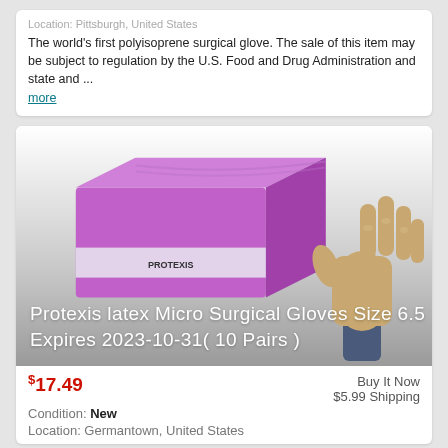Location: Pittsburgh, United States
The world's first polyisoprene surgical glove. The sale of this item may be subject to regulation by the U.S. Food and Drug Administration and state and ...
more
[Figure (photo): Product listing image showing a purple box of Protexis latex Micro Surgical Gloves with a latex-colored surgical glove raised upright beside it. Text overlay reads: Protexis latex Micro Surgical Gloves Size 6.5 Expires 2023-10-31( 10 Pairs )]
$17.49  Buy It Now  $5.99 Shipping  Condition: New  Location: Germantown, United States